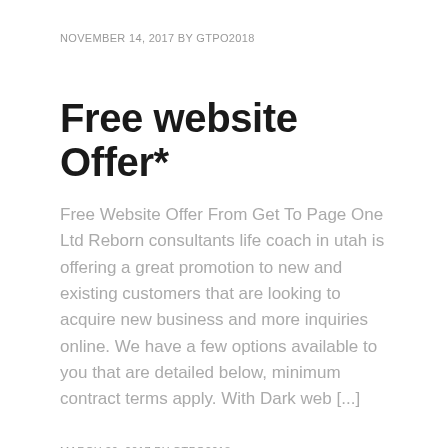NOVEMBER 14, 2017 BY GTPO2018
Free website Offer*
Free Website Offer From Get To Page One Ltd Reborn consultants life coach in utah is offering a great promotion to new and existing customers that are looking to acquire new business and more inquiries online. We have a few options available to you that are detailed below, minimum contract terms apply. With Dark web [...]
MARCH 30, 2017 BY GTPO2018